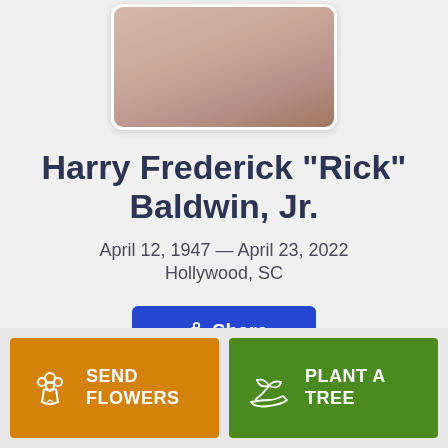[Figure (photo): Partial photo of a person, cropped at top — shows hands or upper body area with warm skin tones]
Harry Frederick "Rick" Baldwin, Jr.
April 12, 1947 — April 23, 2022
Hollywood, SC
Share
SEND FLOWERS
PLANT A TREE